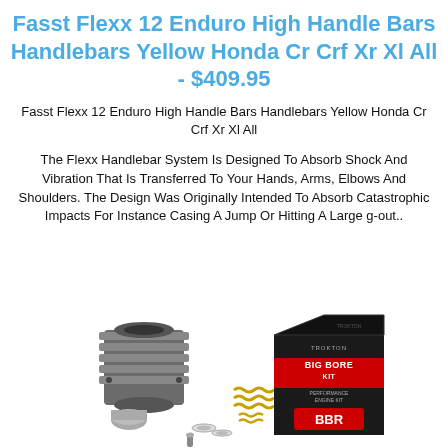Fasst Flexx 12 Enduro High Handle Bars Handlebars Yellow Honda Cr Crf Xr Xl All - $409.95
Fasst Flexx 12 Enduro High Handle Bars Handlebars Yellow Honda Cr Crf Xr Xl All
The Flexx Handlebar System Is Designed To Absorb Shock And Vibration That Is Transferred To Your Hands, Arms, Elbows And Shoulders. The Design Was Originally Intended To Absorb Catastrophic Impacts For Instance Casing A Jump Or Hitting A Large g-out..
[Figure (photo): Product photo showing motorcycle engine cylinder/barrel parts alongside a BBR Big Bore Kit performance engine kit box and associated components including piston, springs, and gaskets.]